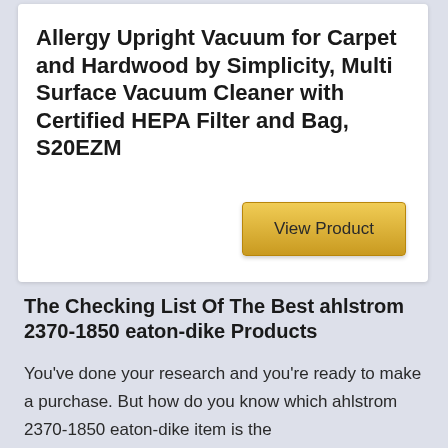Allergy Upright Vacuum for Carpet and Hardwood by Simplicity, Multi Surface Vacuum Cleaner with Certified HEPA Filter and Bag, S20EZM
[Figure (other): Golden 'View Product' button]
The Checking List Of The Best ahlstrom 2370-1850 eaton-dike Products
You've done your research and you're ready to make a purchase. But how do you know which ahlstrom 2370-1850 eaton-dike item is the